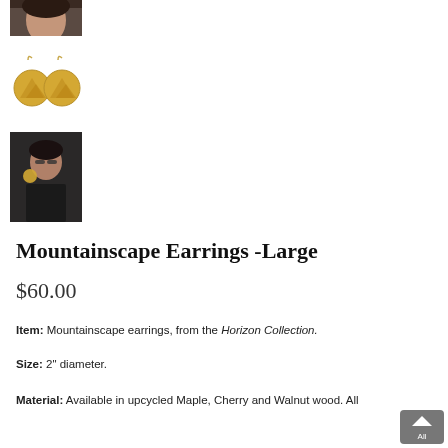[Figure (photo): Small thumbnail photo of a woman's face, partially cropped, at top of left column]
[Figure (photo): Pair of gold circular mountain landscape earrings on hooks, shown as product thumbnail]
[Figure (photo): Photo of a woman wearing the large mountainscape earrings, shown from side angle]
Mountainscape Earrings -Large
$60.00
Item: Mountainscape earrings, from the Horizon Collection.
Size: 2" diameter.
Material: Available in upcycled Maple, Cherry and Walnut wood. All